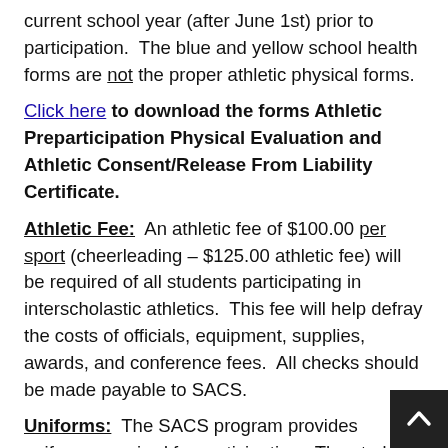current school year (after June 1st) prior to participation. The blue and yellow school health forms are not the proper athletic physical forms.
Click here to download the forms Athletic Preparticipation Physical Evaluation and Athletic Consent/Release From Liability Certificate.
Athletic Fee: An athletic fee of $100.00 per sport (cheerleading – $125.00 athletic fee) will be required of all students participating in interscholastic athletics. This fee will help defray the costs of officials, equipment, supplies, awards, and conference fees. All checks should be made payable to SACS.
Uniforms: The SACS program provides uniforms required for participation. The student accepts responsibility for the care of this uniform and for the